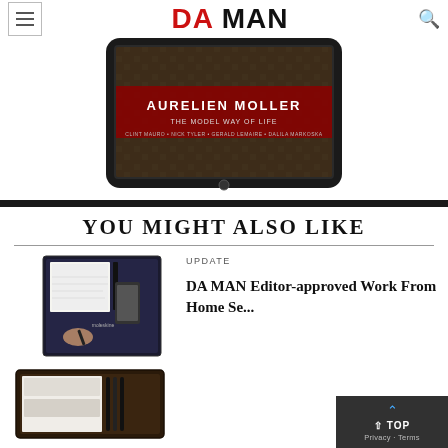DA MAN
[Figure (photo): A tablet device displaying a magazine cover with text 'AURELIEN MOLLER - THE MODEL WAY OF LIFE' on a dark background]
YOU MIGHT ALSO LIKE
[Figure (photo): Product image showing a Moleskine smart writing set with notebook and pen, alongside a leather organizer case]
UPDATE
DA MAN Editor-approved Work From Home Se...